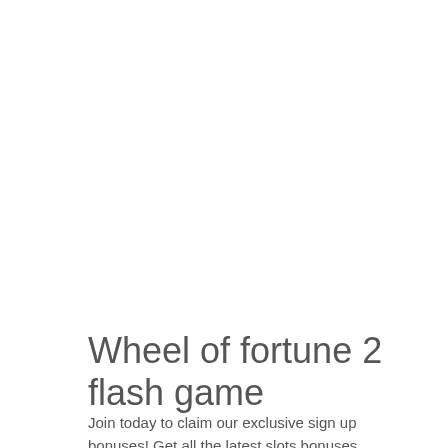Wheel of fortune 2 flash game
Join today to claim our exclusive sign up bonuses! Get all the latest slots bonuses,